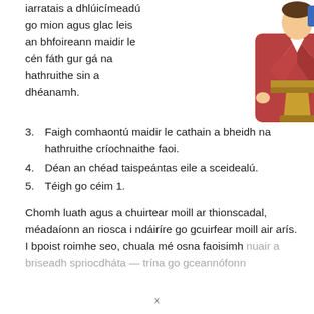iarratais a dhlúicímeadú go mion agus glac leis an bhfoireann maidir le cén fáth gur gá na hathruithe sin a dhéanamh.
[Figure (illustration): Illustration of a person in a red jacket speaking at a wooden podium, viewed from the side/front.]
3. Faigh comhaontú maidir le cathain a bheidh na hathruithe críochnaithe faoi.
4. Déan an chéad taispeántas eile a sceidealú.
5. Téigh go céim 1.
Chomh luath agus a chuirtear moill ar thionscadal, méadaíonn an riosca i ndáiríre go gcuirfear moill air arís. I bpoist roimhe seo, chuala mé osna faoisimh nuair a briseadh spriocdháta — trína go gceannóinn...
x